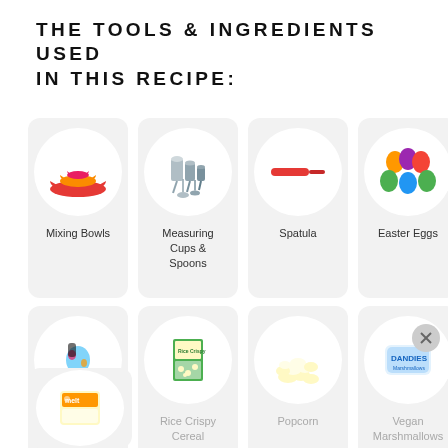THE TOOLS & INGREDIENTS USED IN THIS RECIPE:
[Figure (illustration): Grid of product cards: Mixing Bowls, Measuring Cups & Spoons, Spatula, Easter Eggs, Egg Decorations, Rice Crispy Cereal, Popcorn, Vegan Marshmallows, and a partial card with a melt product]
Mixing Bowls
Measuring Cups & Spoons
Spatula
Easter Eggs
Egg Decorations
Rice Crispy Cereal
Popcorn
Vegan Marshmallows